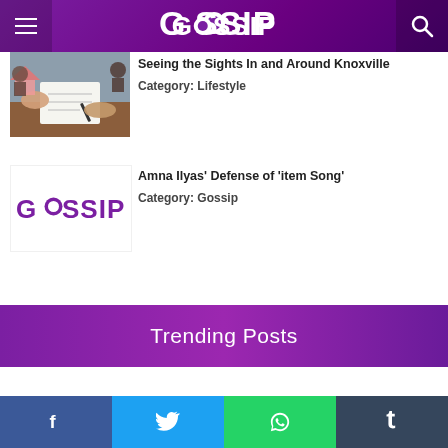GOSSIP
[Figure (photo): People signing a document around a table with a house model]
Seeing the Sights In and Around Knoxville
Category: Lifestyle
[Figure (logo): Gossip logo in purple]
Amna Ilyas' Defense of 'item Song'
Category: Gossip
Trending Posts
Facebook Twitter WhatsApp Tumblr